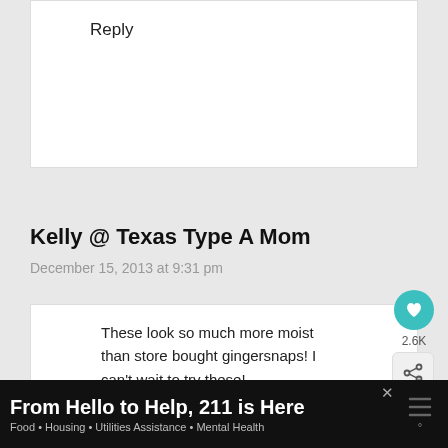Reply
Kelly @ Texas Type A Mom
December 15, 2013 at 9:31 pm
These look so much more moist than store bought gingersnaps! I can't wait to try these!
[Figure (screenshot): Teal heart/like button showing 2.6K count and a share button below it]
[Figure (screenshot): What's Next widget showing thumbnail image and text 'Christmas Cookies']
[Figure (screenshot): Advertisement bar: 'From Hello to Help, 211 is Here' with subtitle 'Food · Housing · Utilities Assistance · Mental Health']